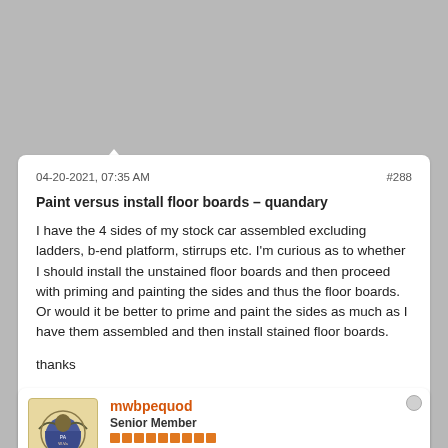[Figure (screenshot): Top gray background area of a forum page]
04-20-2021, 07:35 AM
#288
Paint versus install floor boards – quandary
I have the 4 sides of my stock car assembled excluding ladders, b-end platform, stirrups etc. I'm curious as to whether I should install the unstained floor boards and then proceed with priming and painting the sides and thus the floor boards. Or would it be better to prime and paint the sides as much as I have them assembled and then install stained floor boards.
thanks
Joe in Orlando
mwbpequod
Senior Member